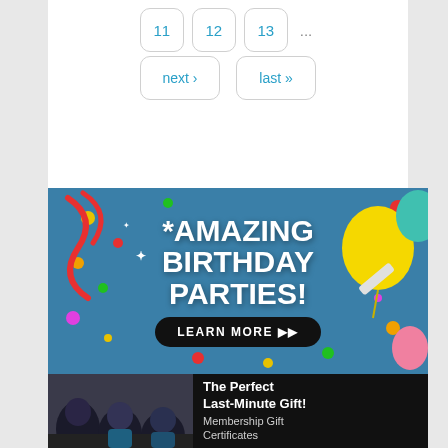11
12
13
...
next ›
last »
[Figure (photo): Birthday party advertisement banner with colorful balloons, confetti, streamers on a blue textured background. Large white bold text reads 'AMAZING BIRTHDAY PARTIES!' with a 'LEARN MORE >>' button.]
[Figure (photo): Black banner with people watching something (cinema scene) on the left, and white text on the right reading 'The Perfect Last-Minute Gift! Membership Gift Certificates']